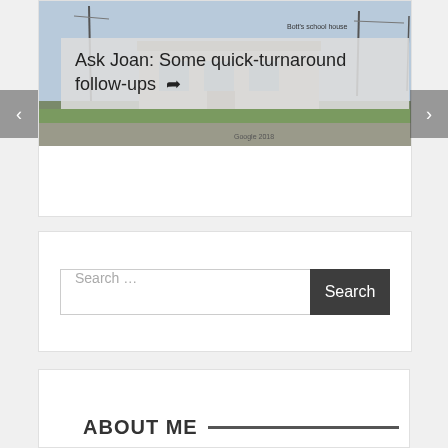[Figure (screenshot): Street view photo of a building with utility poles, labeled 'Bott's school house' and 'Google 2018', with a semi-transparent title overlay reading 'Ask Joan: Some quick-turnaround follow-ups' and navigation arrows on left and right sides.]
Ask Joan: Some quick-turnaround follow-ups
Search …
ABOUT ME